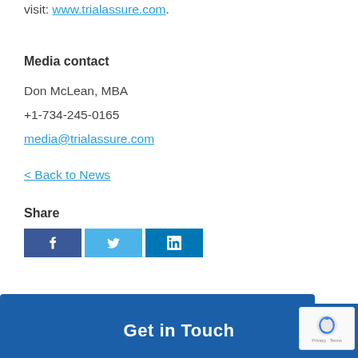visit: www.trialassure.com.
Media contact
Don McLean, MBA
+1-734-245-0165
media@trialassure.com
< Back to News
Share
[Figure (other): Social media share buttons: Facebook (f), Twitter (bird icon), LinkedIn (in)]
Get in Touch